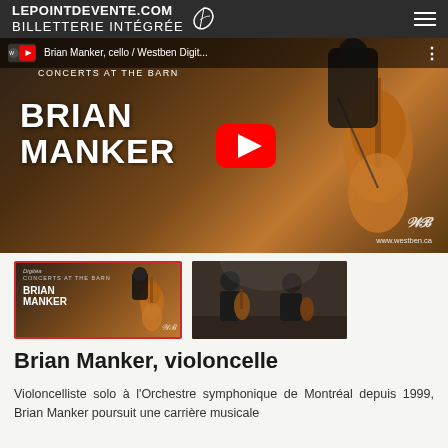LEPOINTDEVENTE.COM BILLETTERIE INTÉGRÉE
[Figure (screenshot): YouTube video thumbnail showing cellist Brian Manker performing at The Barn, with play button overlay. Text reads 'Brian Manker, cello / Westben Digit...' and 'CONCERTS AT THE BARN' and 'BRIAN MANKER' in large white text. Westben watermark logo and www.westben.ca URL visible.]
[Figure (screenshot): Two video thumbnails side by side: first thumbnail with red border showing Brian Manker cello performance at the barn; second thumbnail showing musicians performing on stage.]
Brian Manker, violoncelle
Violoncelliste solo à l'Orchestre symphonique de Montréal depuis 1999, Brian Manker poursuit une carrière musicale